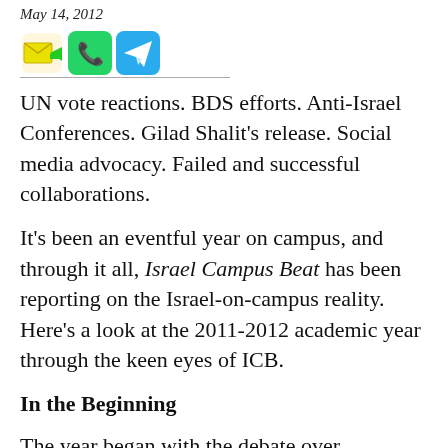May 14, 2012
[Figure (other): Three social sharing icons: email (envelope with green arrow), WhatsApp (green phone icon), and Telegram (blue paper plane icon)]
UN vote reactions. BDS efforts. Anti-Israel Conferences. Gilad Shalit's release. Social media advocacy. Failed and successful collaborations.
It's been an eventful year on campus, and through it all, Israel Campus Beat has been reporting on the Israel-on-campus reality. Here's a look at the 2011-2012 academic year through the keen eyes of ICB.
In the Beginning
The year began with the debate over Palestinian statehood at the UN General Assembly (GA) in September. In preparation